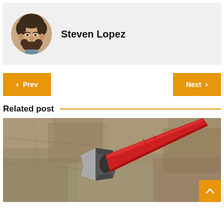[Figure (photo): Circular portrait photo of Steven Lopez, a young man with curly hair and a beard]
Steven Lopez
< Prev
Next >
Related post
[Figure (photo): Close-up photo of an axe head with a red handle against a blurred stone/concrete background]